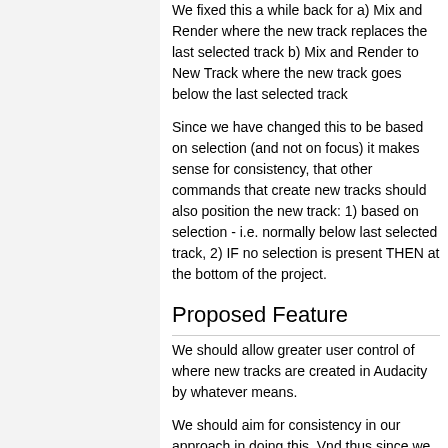We fixed this a while back for a) Mix and Render where the new track replaces the last selected track b) Mix and Render to New Track where the new track goes below the last selected track
Since we have changed this to be based on selection (and not on focus) it makes sense for consistency, that other commands that create new tracks should also position the new track: 1) based on selection - i.e. normally below last selected track, 2) IF no selection is present THEN at the bottom of the project.
Proposed Feature
We should allow greater user control of where new tracks are created in Audacity by whatever means.
We should aim for consistency in our approach in doing this. Vnd thus since we chose "Selection" as the basis for Mix & Render we should continue in that vein.